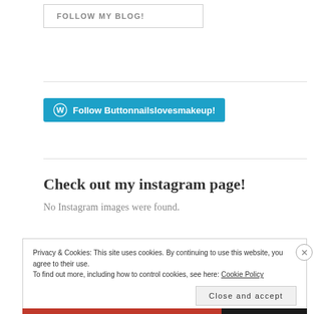FOLLOW MY BLOG!
[Figure (other): WordPress follow button: Follow Buttonnailslovesmakeup!]
Check out my instagram page!
No Instagram images were found.
Privacy & Cookies: This site uses cookies. By continuing to use this website, you agree to their use.
To find out more, including how to control cookies, see here: Cookie Policy
Close and accept